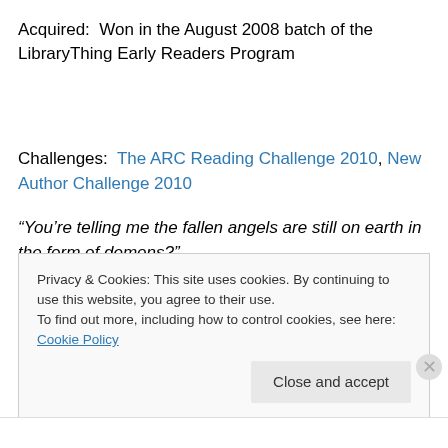Acquired:  Won in the August 2008 batch of the LibraryThing Early Readers Program
Challenges:  The ARC Reading Challenge 2010, New Author Challenge 2010
“You’re telling me the fallen angels are still on earth in the form of demons?”
Privacy & Cookies: This site uses cookies. By continuing to use this website, you agree to their use.
To find out more, including how to control cookies, see here: Cookie Policy